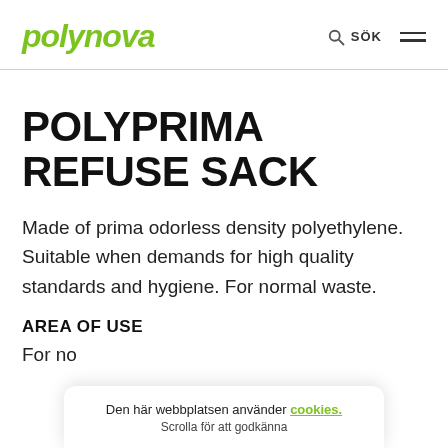polynova | SÖK
POLYPRIMA REFUSE SACK
Made of prima odorless density polyethylene. Suitable when demands for high quality standards and hygiene. For normal waste.
AREA OF USE
For no…
Den här webbplatsen använder cookies. Scrolla för att godkänna